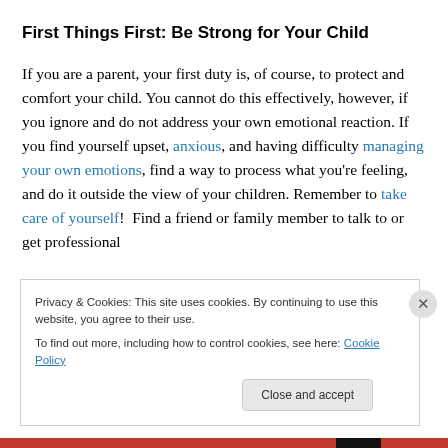First Things First: Be Strong for Your Child
If you are a parent, your first duty is, of course, to protect and comfort your child. You cannot do this effectively, however, if you ignore and do not address your own emotional reaction. If you find yourself upset, anxious, and having difficulty managing your own emotions, find a way to process what you're feeling, and do it outside the view of your children. Remember to take care of yourself!  Find a friend or family member to talk to or get professional
Privacy & Cookies: This site uses cookies. By continuing to use this website, you agree to their use.
To find out more, including how to control cookies, see here: Cookie Policy